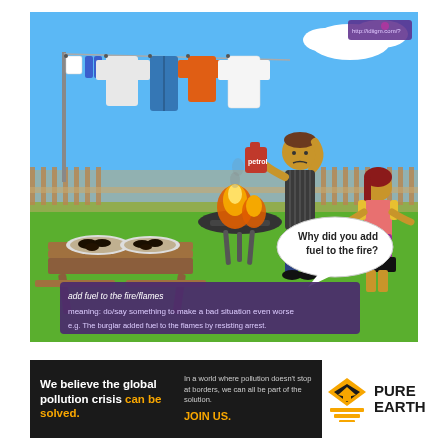[Figure (illustration): Cartoon illustration of a backyard BBQ scene. A person in an apron holding a petrol can stands next to a flaming grill, looking confused. Clothes hang on a clothesline in the background. A picnic table with burnt food is on the left. A girl with red hair stands to the right. A speech bubble reads 'Why did you add fuel to the fire?' A purple caption box at the bottom reads: 'add fuel to the fire/flames / meaning: do/say something to make a bad situation even worse / e.g. The burglar added fuel to the flames by resisting arrest.']
[Figure (infographic): Pure Earth advertisement banner. Left dark section reads: 'We believe the global pollution crisis can be solved.' with 'can be solved.' in orange. Middle text: 'In a world where pollution doesn't stop at borders, we can all be part of the solution. JOIN US.' Right section shows the Pure Earth logo (diamond/chevron shape) with text 'PURE EARTH'.]